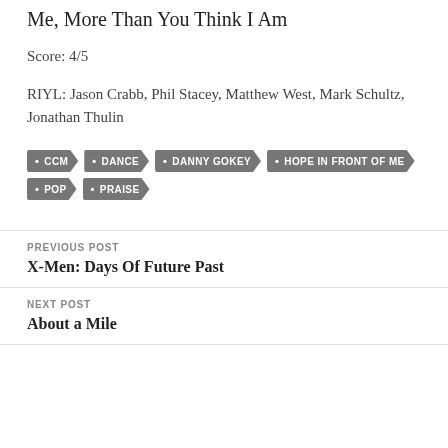Me, More Than You Think I Am
Score: 4/5
RIYL: Jason Crabb, Phil Stacey, Matthew West, Mark Schultz, Jonathan Thulin
Tags: CCM, DANCE, DANNY GOKEY, HOPE IN FRONT OF ME, POP, PRAISE
PREVIOUS POST
X-Men: Days Of Future Past
NEXT POST
About a Mile